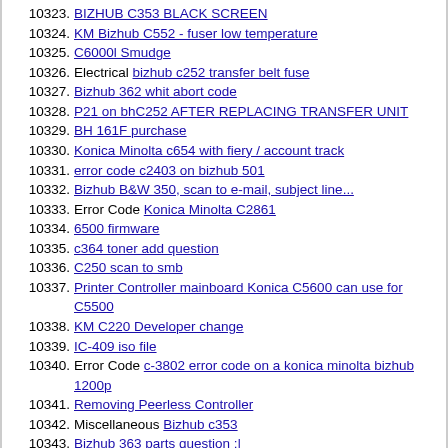10323. BIZHUB C353 BLACK SCREEN
10324. KM Bizhub C552 - fuser low temperature
10325. C6000l Smudge
10326. Electrical bizhub c252 transfer belt fuse
10327. Bizhub 362 whit abort code
10328. P21 on bhC252 AFTER REPLACING TRANSFER UNIT
10329. BH 161F purchase
10330. Konica Minolta c654 with fiery / account track
10331. error code c2403 on bizhub 501
10332. Bizhub B&W 350, scan to e-mail, subject line...
10333. Error Code Konica Minolta C2861
10334. 6500 firmware
10335. c364 toner add question
10336. C250 scan to smb
10337. Printer Controller mainboard Konica C5600 can use for C5500
10338. KM C220 Developer change
10339. IC-409 iso file
10340. Error Code c-3802 error code on a konica minolta bizhub 1200p
10341. Removing Peerless Controller
10342. Miscellaneous Bizhub c353
10343. Bizhub 363 parts question :|
10344. Miscellaneous BizHub C6500 OEM vs Aftermarket PM Kits
10345. Miscellaneous Konica Minolta print stripes on c550
10346. Miscellaneous C250 with Fax Kit freezes when sending fax
10347. Konica Colorforce 8050 assistance needed